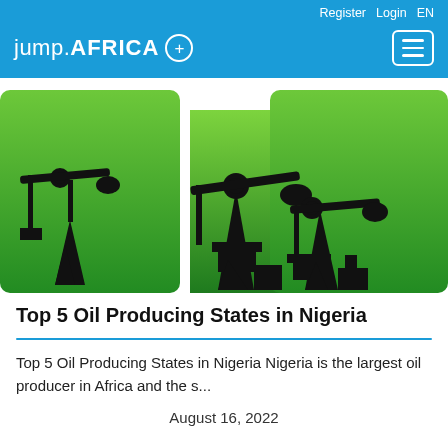Register  Login  EN
[Figure (logo): jump.AFRICA + logo in white on blue background with hamburger menu icon]
[Figure (photo): Three oil pump jack silhouettes on green gradient backgrounds arranged side by side]
Top 5 Oil Producing States in Nigeria
Top 5 Oil Producing States in Nigeria Nigeria is the largest oil producer in Africa and the s...
August 16, 2022